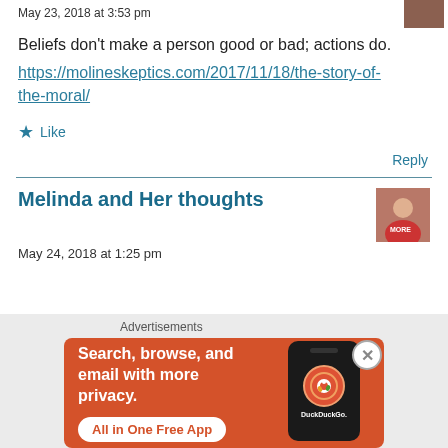May 23, 2018 at 3:53 pm
Beliefs don't make a person good or bad; actions do.
https://molineskeptics.com/2017/11/18/the-story-of-the-moral/
Like
Reply
Melinda and Her thoughts
May 24, 2018 at 1:25 pm
[Figure (screenshot): DuckDuckGo advertisement banner. Orange background with white text reading 'Search, browse, and email with more privacy. All in One Free App' and a phone graphic showing DuckDuckGo logo. Labeled 'Advertisements'.]